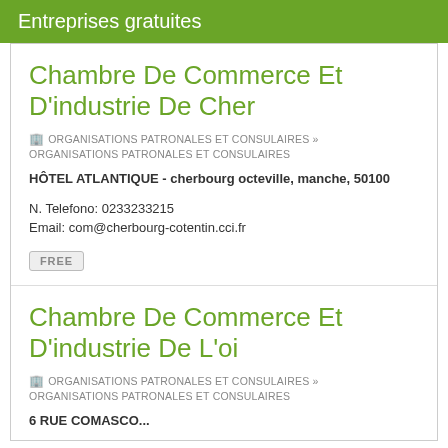Entreprises gratuites
Chambre De Commerce Et D'industrie De Cher
ORGANISATIONS PATRONALES ET CONSULAIRES » ORGANISATIONS PATRONALES ET CONSULAIRES
HÔTEL ATLANTIQUE - cherbourg octeville, manche, 50100
N. Telefono: 0233233215
Email: com@cherbourg-cotentin.cci.fr
FREE
Chambre De Commerce Et D'industrie De L'oi
ORGANISATIONS PATRONALES ET CONSULAIRES » ORGANISATIONS PATRONALES ET CONSULAIRES
6 RUE COMASCO...